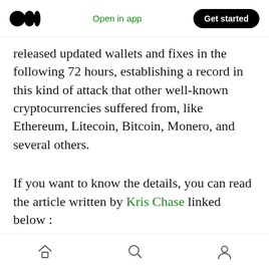Medium logo | Open in app | Get started
released updated wallets and fixes in the following 72 hours, establishing a record in this kind of attack that other well-known cryptocurrencies suffered from, like Ethereum, Litecoin, Bitcoin, Monero, and several others.
If you want to know the details, you can read the article written by Kris Chase linked below :
Verge Currency Solves Blockchain Vulnerability in Record Time
Written by 'Kris Chase' | Twitter: @itskrischase
medium.com
Home | Search | Profile navigation icons